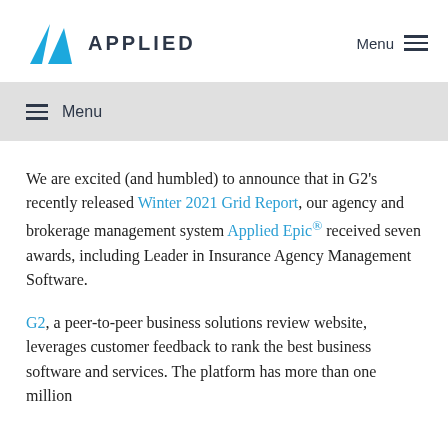[Figure (logo): Applied Systems logo with a blue triangle/arrow icon and the word APPLIED in dark sans-serif letters]
Menu
≡ Menu
We are excited (and humbled) to announce that in G2's recently released Winter 2021 Grid Report, our agency and brokerage management system Applied Epic® received seven awards, including Leader in Insurance Agency Management Software.
G2, a peer-to-peer business solutions review website, leverages customer feedback to rank the best business software and services. The platform has more than one million